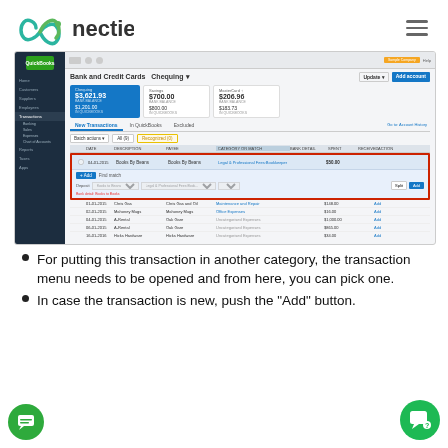[Figure (logo): Conectier logo with infinity-like symbol in teal/green and hamburger menu icon]
[Figure (screenshot): QuickBooks Online Bank and Credit Cards - Chequing screen showing transactions list with one transaction (Books By Beans / Legal & Professional Fees) highlighted in a red box with categorization dropdown expanded. Other transactions visible: Chris Gas, Mahoney Mugs, A-Rental entries, Hicks Hardware.]
For putting this transaction in another category, the transaction menu needs to be opened and from here, you can pick one.
In case the transaction is new, push the "Add" button.